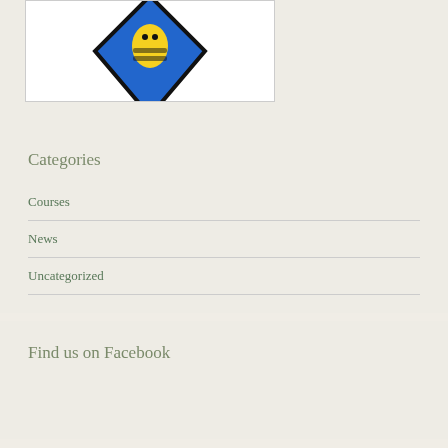[Figure (illustration): A diamond-shaped logo with blue background featuring a yellow/golden figure, framed with a white border and light gray outline frame]
Categories
Courses
News
Uncategorized
Find us on Facebook
Blog at WordPress.com.